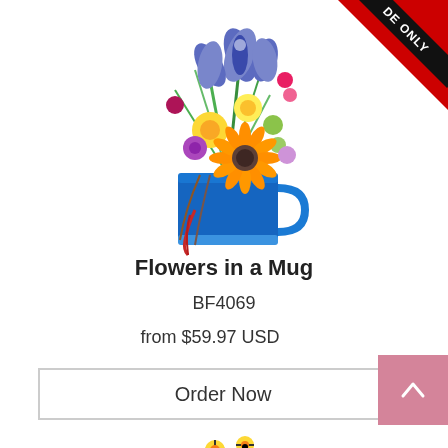[Figure (photo): Colorful flower arrangement in a blue mug with iris, gerbera daisy, yellow flowers, and decorative ribbons. A 'Guide Only' corner banner is visible top-right.]
Flowers in a Mug
BF4069
from $59.97 USD
Order Now
[Figure (photo): Partial view of a second flower arrangement featuring red and pink flowers with decorative bee picks, visible at bottom of page.]